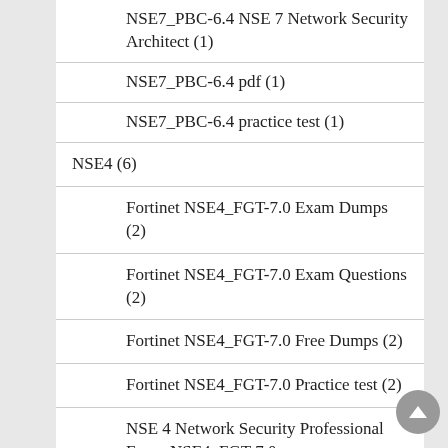NSE7_PBC-6.4 NSE 7 Network Security Architect (1)
NSE7_PBC-6.4 pdf (1)
NSE7_PBC-6.4 practice test (1)
NSE4 (6)
Fortinet NSE4_FGT-7.0 Exam Dumps (2)
Fortinet NSE4_FGT-7.0 Exam Questions (2)
Fortinet NSE4_FGT-7.0 Free Dumps (2)
Fortinet NSE4_FGT-7.0 Practice test (2)
NSE 4 Network Security Professional Exam NSE4_FGT-7.0